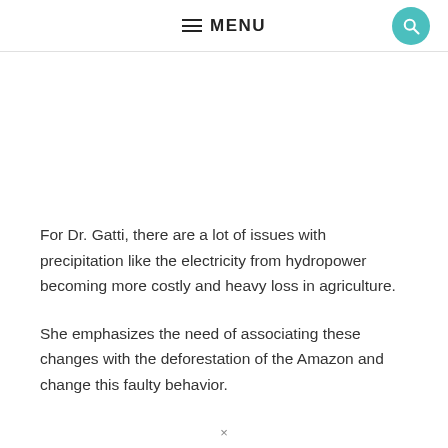MENU
For Dr. Gatti, there are a lot of issues with precipitation like the electricity from hydropower becoming more costly and heavy loss in agriculture.
She emphasizes the need of associating these changes with the deforestation of the Amazon and change this faulty behavior.